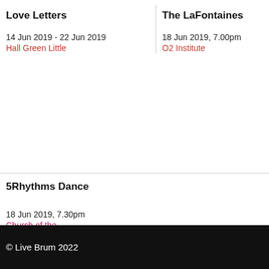Love Letters
The LaFontaines
14 Jun 2019 - 22 Jun 2019
Hall Green Little
18 Jun 2019, 7.00pm
O2 Institute
5Rhythms Dance
18 Jun 2019, 7.30pm
Church of the Ascension,
© Live Brum 2022